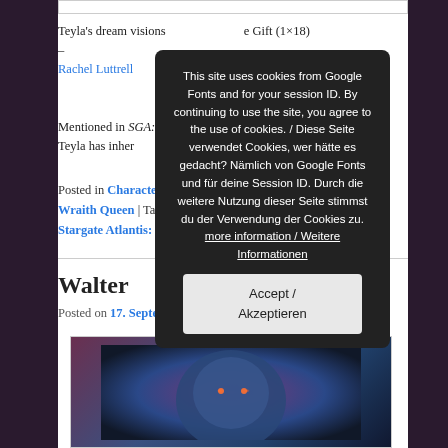Teyla's dream visions ... e Gift (1×18) – Rachel Luttrell
Mentioned in SGA: Legacy ... ose blood line Teyla has inherited ...
Posted in Characters ... Season 1, Wraith Queen | Tags ... , Season 1, Stargate Atlantis: Legacy
Walter
Posted on 17. September 2018
[Figure (photo): Image of a blue alien/Wraith character with orange glowing eyes against dark background]
This site uses cookies from Google Fonts and for your session ID. By continuing to use the site, you agree to the use of cookies. / Diese Seite verwendet Cookies, wer hätte es gedacht? Nämlich von Google Fonts und für deine Session ID. Durch die weitere Nutzung dieser Seite stimmst du der Verwendung der Cookies zu. more information / Weitere Informationen [Accept / Akzeptieren button]